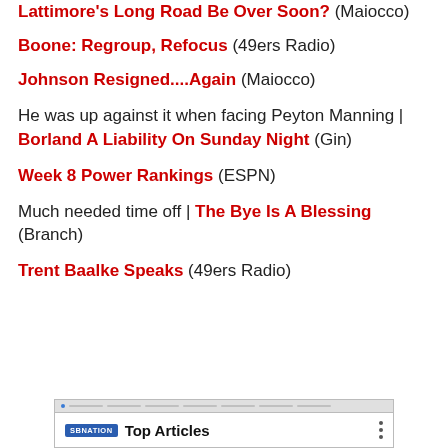Lattimore's Long Road Be Over Soon? (Maiocco)
Boone: Regroup, Refocus (49ers Radio)
Johnson Resigned....Again (Maiocco)
He was up against it when facing Peyton Manning | Borland A Liability On Sunday Night (Gin)
Week 8 Power Rankings (ESPN)
Much needed time off | The Bye Is A Blessing (Branch)
Trent Baalke Speaks (49ers Radio)
[Figure (screenshot): SB Nation Top Articles widget with logo and three-dot menu]